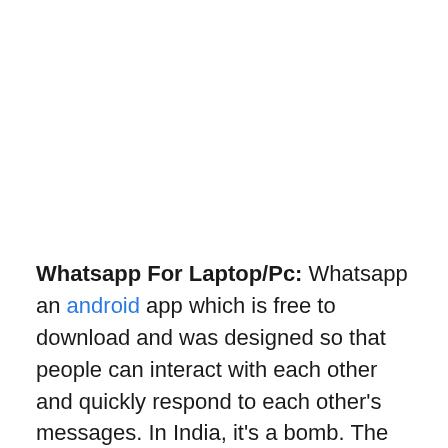Whatsapp For Laptop/Pc: Whatsapp an android app which is free to download and was designed so that people can interact with each other and quickly respond to each other's messages. In India, it's a bomb. The most popular mobile messaging app in India, Brazil, and Mexico. You may not use Whatsapp, but the rest of the world surely does. So In This Article, I'm Going To Share How You Use Whatsapp For